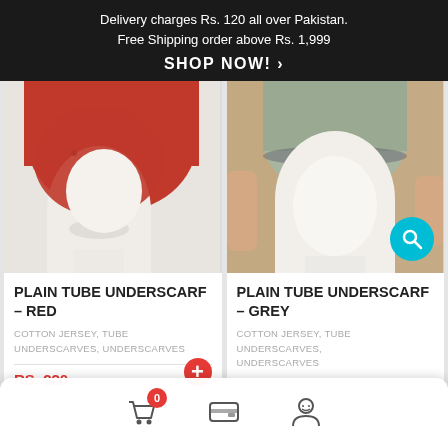Delivery charges Rs. 120 all over Pakistan. Free Shipping order above Rs. 1,999
SHOP NOW!  >
[Figure (photo): White mannequin head wearing a red tube underscarf/cap, left product image]
[Figure (photo): White mannequin head wearing a grey tube underscarf, right product image with teal search icon overlay]
PLAIN TUBE UNDERSCARF – RED
COTTON JERSEY, TUBE UNDERSCARVES, UNDERSCARVES
RS. 220
PLAIN TUBE UNDERSCARF – GREY
COTTON JERSEY, TUBE UNDERSCARVES, UNDERSCARVES
[Figure (screenshot): Bottom navigation bar with cart icon (badge 0), payment icon, and profile icon]